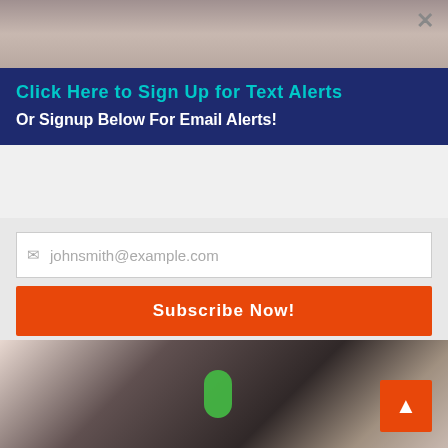[Figure (photo): Top strip showing a person's face/neck area]
Click Here to Sign Up for Text Alerts
Or Signup Below For Email Alerts!
[Figure (screenshot): Email signup form with input field showing johnsmith@example.com placeholder and orange Subscribe Now! button]
[Figure (photo): Person holding a green device near their neck/chin area for mole removal]
Getting Rid of Moles & Skin Tags Has Never Been So Simple
Mole & Skin Tag Removal
[Figure (photo): Close-up of skin with wrinkles/texture, partial view]